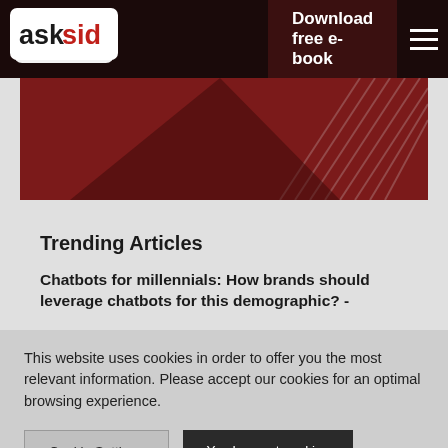asksid — Download free e-book
[Figure (screenshot): AskSid logo — white speech bubble with 'ask' in white and 'sid' in red on dark background, with download free e-book button and hamburger menu]
[Figure (illustration): Dark red hero banner with abstract geometric pattern on right side]
Trending Articles
Chatbots for millennials: How brands should leverage chatbots for this demographic? -
This website uses cookies in order to offer you the most relevant information. Please accept our cookies for an optimal browsing experience.
Cookie Settings | Yes I accept cookies